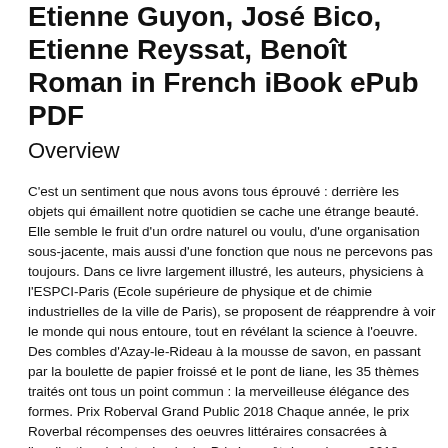Etienne Guyon, José Bico, Etienne Reyssat, Benoît Roman in French iBook ePub PDF
Overview
C'est un sentiment que nous avons tous éprouvé : derrière les objets qui émaillent notre quotidien se cache une étrange beauté. Elle semble le fruit d'un ordre naturel ou voulu, d'une organisation sous-jacente, mais aussi d'une fonction que nous ne percevons pas toujours. Dans ce livre largement illustré, les auteurs, physiciens à l'ESPCI-Paris (Ecole supérieure de physique et de chimie industrielles de la ville de Paris), se proposent de réapprendre à voir le monde qui nous entoure, tout en révélant la science à l'oeuvre.
Des combles d'Azay-le-Rideau à la mousse de savon, en passant par la boulette de papier froissé et le pont de liane, les 35 thèmes traités ont tous un point commun : la merveilleuse élégance des formes. Prix Roberval Grand Public 2018 Chaque année, le prix Roverbal récompenses des oeuvres littéraires consacrées à l'explication de la technologie. Prix Le goût des sciences 2018